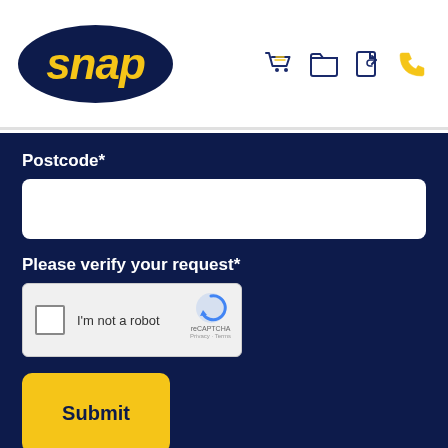[Figure (logo): Snap logo: dark navy oval with yellow italic bold text 'snap']
[Figure (illustration): Navigation icons: shopping cart, folder, share/file, phone (in navy and gold)]
Postcode*
[Figure (other): Empty white text input box for postcode]
Please verify your request*
[Figure (other): reCAPTCHA widget: checkbox with 'I'm not a robot' text, reCAPTCHA logo, Privacy and Terms links]
Submit